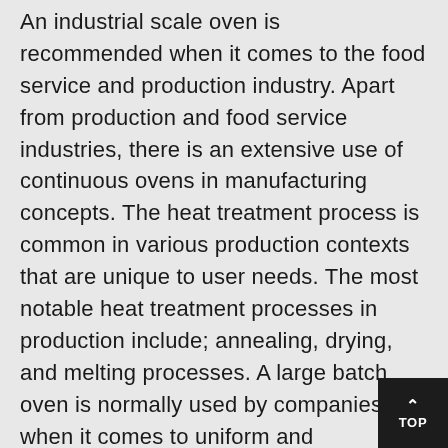An industrial scale oven is recommended when it comes to the food service and production industry. Apart from production and food service industries, there is an extensive use of continuous ovens in manufacturing concepts. The heat treatment process is common in various production contexts that are unique to user needs. The most notable heat treatment processes in production include; annealing, drying, and melting processes. A large batch oven is normally used by companies when it comes to uniform and simultaneous application of heat on products in mass productions.